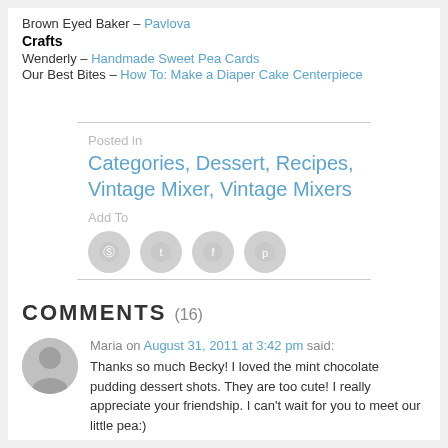Brown Eyed Baker – Pavlova
Crafts
Wenderly – Handmade Sweet Pea Cards
Our Best Bites – How To: Make a Diaper Cake Centerpiece
Posted in
Categories, Dessert, Recipes, Vintage Mixer, Vintage Mixers
Add To
COMMENTS (16)
Maria on August 31, 2011 at 3:42 pm said:
Thanks so much Becky! I loved the mint chocolate pudding dessert shots. They are too cute! I really appreciate your friendship. I can't wait for you to meet our little pea:)